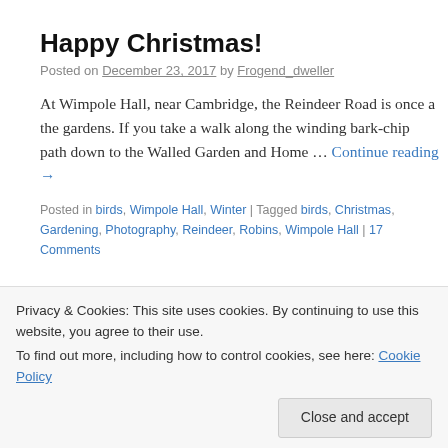Happy Christmas!
Posted on December 23, 2017 by Frogend_dweller
At Wimpole Hall, near Cambridge, the Reindeer Road is once a the gardens. If you take a walk along the winding bark-chip path down to the Walled Garden and Home … Continue reading →
Posted in birds, Wimpole Hall, Winter | Tagged birds, Christmas, Gardening, Photography, Reindeer, Robins, Wimpole Hall | 17 Comments
Getting to the heart (of the Heartnut)
Posted on September 26, 2016 by Frogend_dweller
Privacy & Cookies: This site uses cookies. By continuing to use this website, you agree to their use.
To find out more, including how to control cookies, see here: Cookie Policy